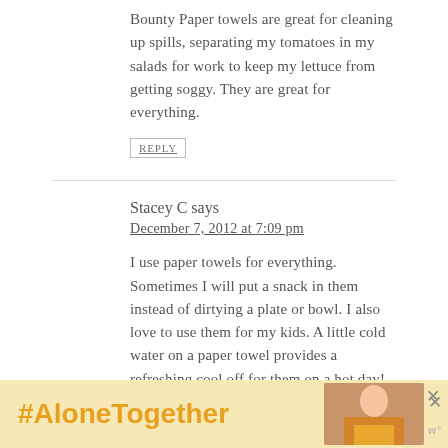Bounty Paper towels are great for cleaning up spills, separating my tomatoes in my salads for work to keep my lettuce from getting soggy. They are great for everything.
REPLY
Stacey C says
December 7, 2012 at 7:09 pm
I use paper towels for everything. Sometimes I will put a snack in them instead of dirtying a plate or bowl. I also love to use them for my kids. A little cold water on a paper towel provides a refreshing cool off for them on a hot day!
[Figure (screenshot): #AloneTogether advertisement banner with photo of woman and close buttons]